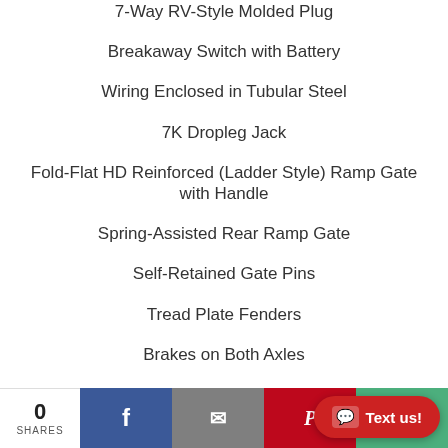7-Way RV-Style Molded Plug
Breakaway Switch with Battery
Wiring Enclosed in Tubular Steel
7K Dropleg Jack
Fold-Flat HD Reinforced (Ladder Style) Ramp Gate with Handle
Spring-Assisted Rear Ramp Gate
Self-Retained Gate Pins
Tread Plate Fenders
Brakes on Both Axles
Easy Lube Hubs
0 SHARES | Facebook | Email | Pinterest | Chat | Text us!